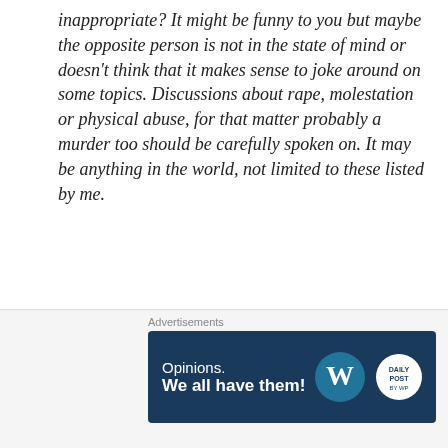inappropriate? It might be funny to you but maybe the opposite person is not in the state of mind or doesn't think that it makes sense to joke around on some topics. Discussions about rape, molestation or physical abuse, for that matter probably a murder too should be carefully spoken on. It may be anything in the world, not limited to these listed by me.
3. Add the right emoji but also don't over-do it – What if you've written something funny and had to add a funny emoji probably 😊 but you end-up sending 😒 or 😠. They may misunderstand your
Advertisements
[Figure (other): WordPress advertisement banner: dark blue background with 'Opinions. We all have them!' text and WordPress and Daily Post logos]